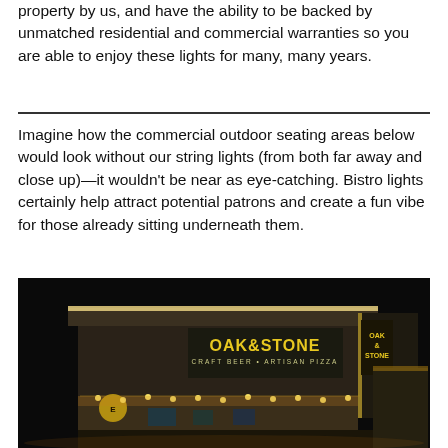property by us, and have the ability to be backed by unmatched residential and commercial warranties so you are able to enjoy these lights for many, many years.
Imagine how the commercial outdoor seating areas below would look without our string lights (from both far away and close up)—it wouldn't be near as eye-catching. Bistro lights certainly help attract potential patrons and create a fun vibe for those already sitting underneath them.
[Figure (photo): Night photo of Oak & Stone Craft Beer and Artisan Pizza restaurant exterior, illuminated with string lights along the outdoor seating area and bright signage on the building facade.]